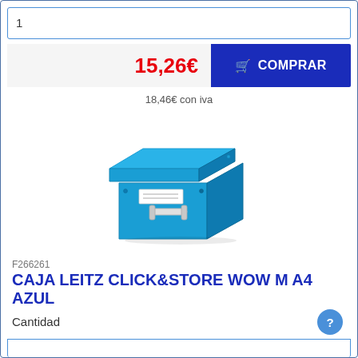1
15,26€
COMPRAR
18,46€ con iva
[Figure (photo): Blue Leitz Click&Store WOW M A4 storage box with lid and metal handle]
F266261
CAJA LEITZ CLICK&STORE WOW M A4 AZUL
Cantidad